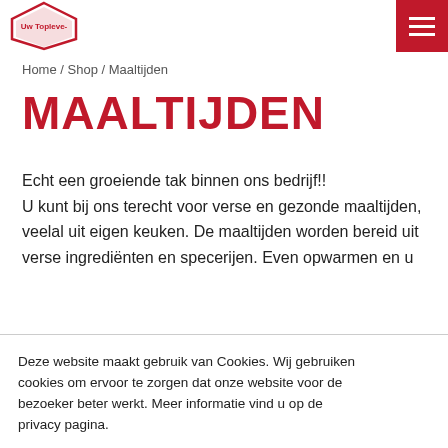[Figure (logo): Website logo (hexagon shape with red and white design)]
Home / Shop / Maaltijden
MAALTIJDEN
Echt een groeiende tak binnen ons bedrijf!!
U kunt bij ons terecht voor verse en gezonde maaltijden, veelal uit eigen keuken. De maaltijden worden bereid uit verse ingrediënten en specerijen. Even opwarmen en u
Deze website maakt gebruik van Cookies. Wij gebruiken cookies om ervoor te zorgen dat onze website voor de bezoeker beter werkt. Meer informatie vind u op de privacy pagina.